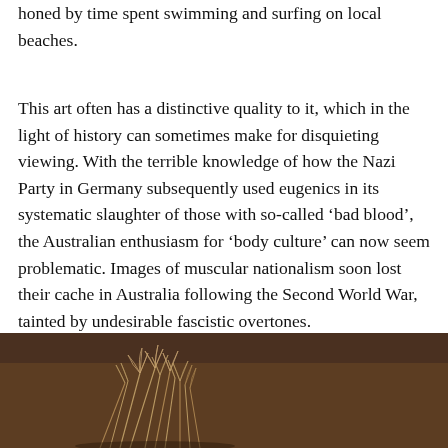honed by time spent swimming and surfing on local beaches.
This art often has a distinctive quality to it, which in the light of history can sometimes make for disquieting viewing. With the terrible knowledge of how the Nazi Party in Germany subsequently used eugenics in its systematic slaughter of those with so-called ‘bad blood’, the Australian enthusiasm for ‘body culture’ can now seem problematic. Images of muscular nationalism soon lost their cache in Australia following the Second World War, tainted by undesirable fascistic overtones.
[Figure (photo): Sepia-toned photograph showing botanical/plant elements, appears to be grasses or similar vegetation against a dark background]